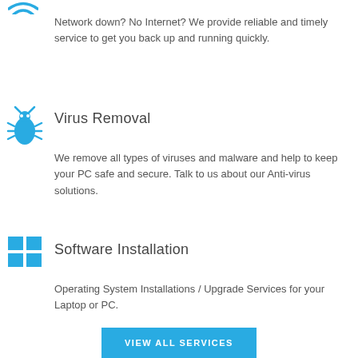[Figure (illustration): Blue wifi/network icon (partial, cropped at top)]
Network down? No Internet? We provide reliable and timely service to get you back up and running quickly.
[Figure (illustration): Blue bug/virus icon]
Virus Removal
We remove all types of viruses and malware and help to keep your PC safe and secure. Talk to us about our Anti-virus solutions.
[Figure (illustration): Blue Windows logo icon]
Software Installation
Operating System Installations / Upgrade Services for your Laptop or PC.
VIEW ALL SERVICES